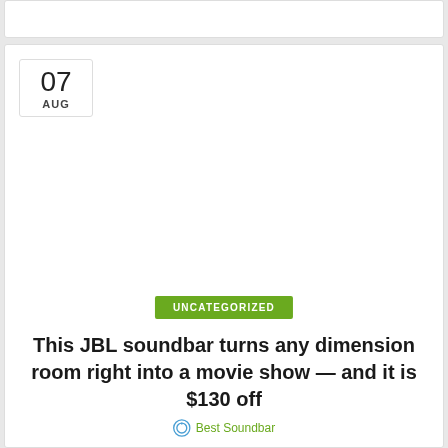[Figure (other): Top white card strip (partial/cropped card from previous entry)]
07
AUG
UNCATEGORIZED
This JBL soundbar turns any dimension room right into a movie show — and it is $130 off
Best Soundbar